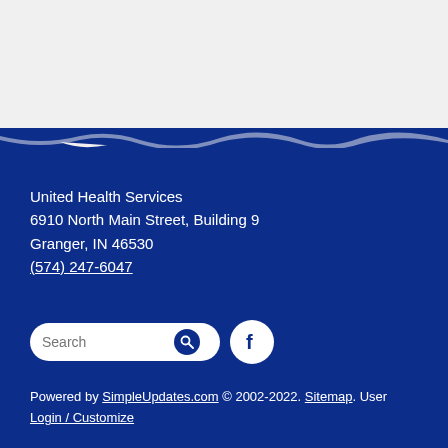United Health Services
6910 North Main Street, Building 9
Granger, IN 46530
(574) 247-6047
Powered by SimpleUpdates.com © 2002-2022. Sitemap. User Login / Customize